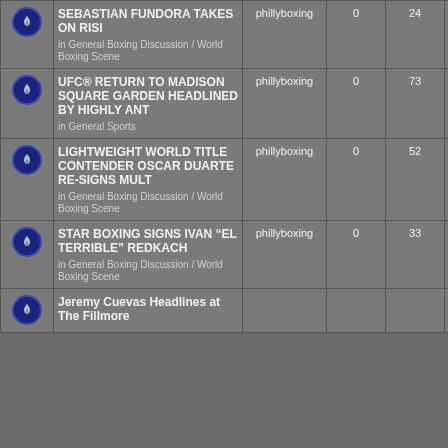|  | Topic | Author | Replies | Views | Last Post |
| --- | --- | --- | --- | --- | --- |
| [icon] | SEBASTIAN FUNDORA TAKES ON RISI
in General Boxing Discussion / World Boxing Scene | phillyboxing | 0 | 24 | Wed Aug 24, 2022 10:53 am phillyboxing |
| [icon] | UFC® RETURN TO MADISON SQUARE GARDEN HEADLINED BY HIGHLY ANT
in General Sports | phillyboxing | 0 | 73 | Wed Aug 24, 2022 10:47 am phillyboxing |
| [icon] | LIGHTWEIGHT WORLD TITLE CONTENDER OSCAR DUARTE RE-SIGNS MULT
in General Boxing Discussion / World Boxing Scene | phillyboxing | 0 | 52 | Wed Aug 24, 2022 4:27 am phillyboxing |
| [icon] | STAR BOXING SIGNS IVAN "EL TERRIBLE" REDKACH
in General Boxing Discussion / World Boxing Scene | phillyboxing | 0 | 33 | Wed Aug 24, 2022 4:08 am phillyboxing |
| [icon] | Jeremy Cuevas Headlines at The Fillmore | phillyboxing |  |  | Wed Aug |